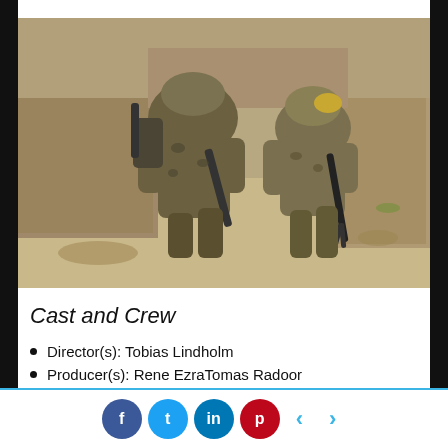[Figure (photo): Two soldiers in camouflage uniforms and helmets moving in a crouched position through a sandy, arid environment with mud-brick walls. One carries a rifle and radio equipment on his back.]
Cast and Crew
Director(s): Tobias Lindholm
Producer(s): Rene EzraTomas Radoor